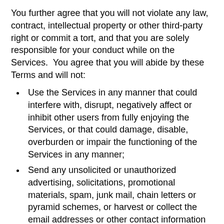You further agree that you will not violate any law, contract, intellectual property or other third-party right or commit a tort, and that you are solely responsible for your conduct while on the Services.  You agree that you will abide by these Terms and will not:
Use the Services in any manner that could interfere with, disrupt, negatively affect or inhibit other users from fully enjoying the Services, or that could damage, disable, overburden or impair the functioning of the Services in any manner;
Send any unsolicited or unauthorized advertising, solicitations, promotional materials, spam, junk mail, chain letters or pyramid schemes, or harvest or collect the email addresses or other contact information of other users from the Services for the purpose of sending spam or other commercial messages;
Use any robot, spider, crawler, scraper or other automated means or interface not provided by us to access the Services or to extract data;
Reverse engineer any aspect of the Services or do anything that might discover source code or bypass or circumvent measures employed to prevent or limit access to any area, content or